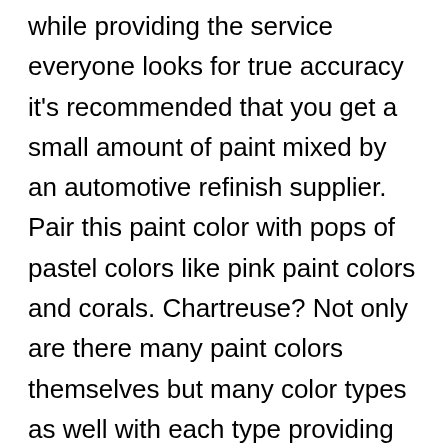while providing the service everyone looks for true accuracy it's recommended that you get a small amount of paint mixed by an automotive refinish supplier. Pair this paint color with pops of pastel colors like pink paint colors and corals. Chartreuse? Not only are there many paint colors themselves but many color types as well with each type providing its own unique series of properties. 45125LH. Pomegranate? From light green to dark green, you can find whatever you want on this page. As paint names go, this is probably one of the most recognizable—even if it has evolved over the years. Below you will find a list of all colours for FORD FIESTA that are included in the colour group GREEN. To Buy Car Touch Up Paint or Car Aerosol